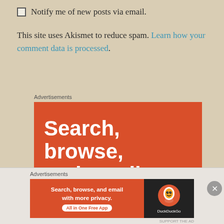Notify me of new posts via email.
This site uses Akismet to reduce spam. Learn how your comment data is processed.
Advertisements
[Figure (infographic): DuckDuckGo advertisement with orange background. Large white bold text reads: Search, browse, and email with more (text cut off)]
Advertisements
[Figure (infographic): DuckDuckGo bottom ad banner. Orange left side reads: Search, browse, and email with more privacy. All in One Free App. Dark right side shows DuckDuckGo logo and brand name.]